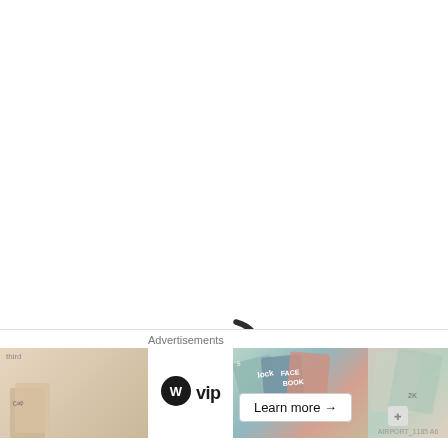[Figure (illustration): Loading spinner graphic — two curved arcs forming an incomplete circle, one dark charcoal/black and one yellow-green, suggesting a spinning animation indicator]
We use cookies on our website to give you the most relevant experience by remembering your preferences and repeat visits. By clicking “Accept”, you consent to the use of ALL the cookies
[Figure (infographic): Advertisement bar at the bottom: 'Advertisements' label, a left image panel, WordPress VIP logo with text, a middle image panel with partial text, a 'Learn more →' button, and a right image panel]